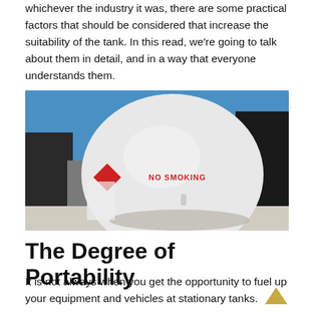whichever the industry it was, there are some practical factors that should be considered that increase the suitability of the tank. In this read, we're going to talk about them in detail, and in a way that everyone understands them.
[Figure (photo): A large white spherical propane or gas storage tank with a red 'NO SMOKING' label printed on its side, situated outdoors between industrial structures under a blue sky.]
The Degree of Portability
It is not always when you get the opportunity to fuel up your equipment and vehicles at stationary tanks. In fact, you could highlight that the portable